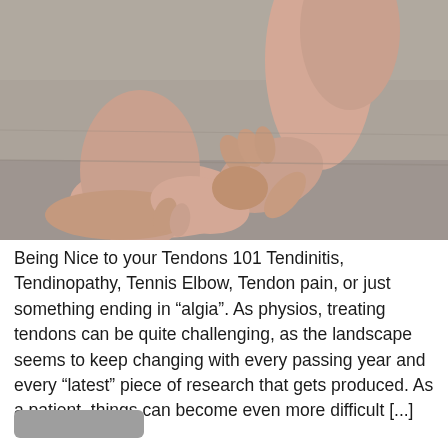[Figure (photo): A person's hands massaging or holding their ankle/foot area, seated on a grey sofa. The image shows close-up of bare feet and hands suggesting tendon or foot pain treatment.]
Being Nice to your Tendons 101 Tendinitis, Tendinopathy, Tennis Elbow, Tendon pain, or just something ending in “algia”. As physios, treating tendons can be quite challenging, as the landscape seems to keep changing with every passing year and every “latest” piece of research that gets produced. As a patient, things can become even more difficult [...]